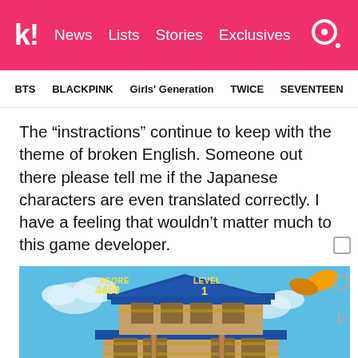k! News Lists Stories Exclusives
BTS   BLACKPINK   Girls' Generation   TWICE   SEVENTEEN
The “instractions” continue to keep with the theme of broken English. Someone out there please tell me if the Japanese characters are even translated correctly. I have a feeling that wouldn’t matter much to this game developer.
[Figure (screenshot): Screenshot of a mobile game showing a Japanese pagoda-style building with 'SCORE 4400' and 'LEVEL 1' displayed, Japanese characters on a sign, and text 'Gotta catch em all!']